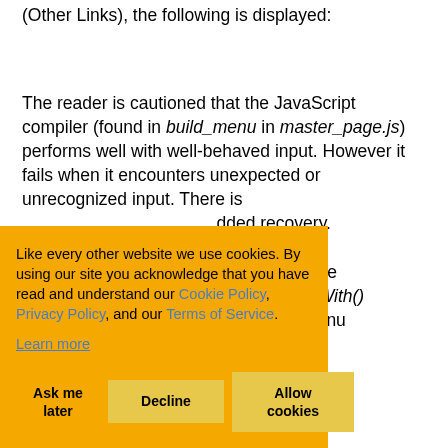(Other Links), the following is displayed:
The reader is cautioned that the JavaScript compiler (found in build_menu in master_page.js) performs well with well-behaved input. However it fails when it encounters unexpected or unrecognized input. There is no error handling or embedded recovery.
...d that some ...ne startsWith() ...During menu ...st for a ...ere were a number of solutions available. I chose to incorporate the